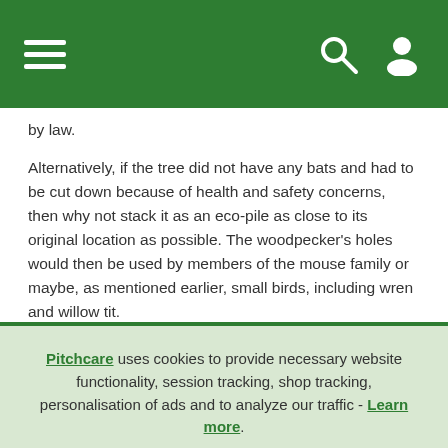Navigation bar with hamburger menu, search icon, and user icon
by law.
Alternatively, if the tree did not have any bats and had to be cut down because of health and safety concerns, then why not stack it as an eco-pile as close to its original location as possible. The woodpecker's holes would then be used by members of the mouse family or maybe, as mentioned earlier, small birds, including wren and willow tit.
Pitchcare uses cookies to provide necessary website functionality, session tracking, shop tracking, personalisation of ads and to analyze our traffic - Learn more. By using our website, you agree to our Privacy Policy and our cookies usage.
Accept